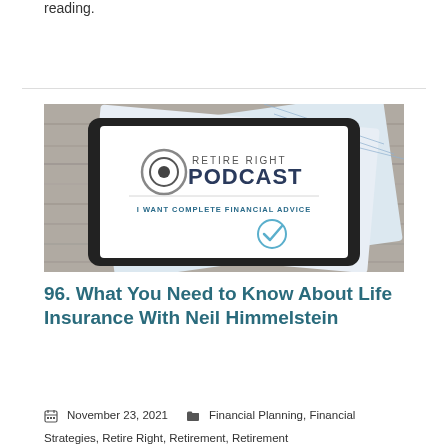reading.
[Figure (photo): Tablet displaying 'Retire Right Podcast - I Want Complete Financial Advice' logo on a wooden surface with papers]
96. What You Need to Know About Life Insurance With Neil Himmelstein
November 23, 2021   Financial Planning, Financial Strategies, Retire Right, Retirement, Retirement